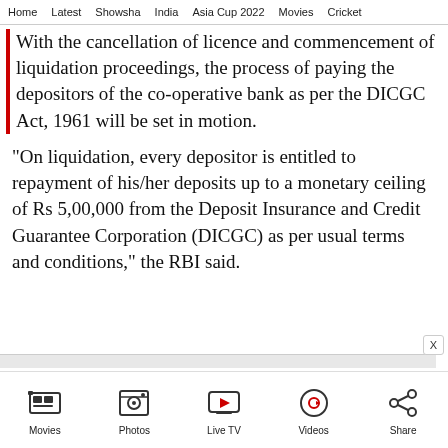Home   Latest   Showsha   India   Asia Cup 2022   Movies   Cricket
With the cancellation of licence and commencement of liquidation proceedings, the process of paying the depositors of the co-operative bank as per the DICGC Act, 1961 will be set in motion.
"On liquidation, every depositor is entitled to repayment of his/her deposits up to a monetary ceiling of Rs 5,00,000 from the Deposit Insurance and Credit Guarantee Corporation (DICGC) as per usual terms and conditions," the RBI said.
Movies   Photos   Live TV   Videos   Share